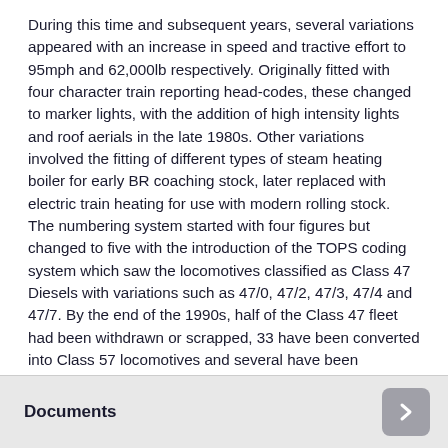During this time and subsequent years, several variations appeared with an increase in speed and tractive effort to 95mph and 62,000lb respectively. Originally fitted with four character train reporting head-codes, these changed to marker lights, with the addition of high intensity lights and roof aerials in the late 1980s. Other variations involved the fitting of different types of steam heating boiler for early BR coaching stock, later replaced with electric train heating for use with modern rolling stock. The numbering system started with four figures but changed to five with the introduction of the TOPS coding system which saw the locomotives classified as Class 47 Diesels with variations such as 47/0, 47/2, 47/3, 47/4 and 47/7. By the end of the 1990s, half of the Class 47 fleet had been withdrawn or scrapped, 33 have been converted into Class 57 locomotives and several have been preserved, including the original No. D1500, now numbered 47401.
Documents